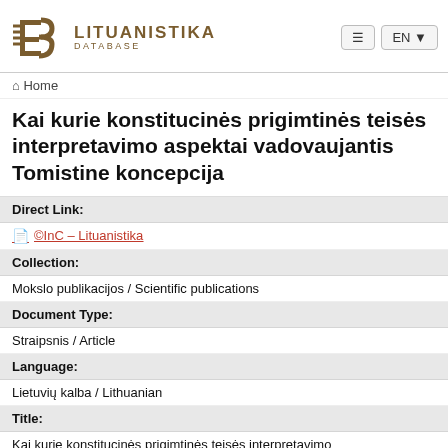LITUANISTIKA DATABASE
Home
Kai kurie konstitucinės prigimtinės teisės interpretavimo aspektai vadovaujantis Tomistine koncepcija
| Field | Value |
| --- | --- |
| Direct Link: | ©InC – Lituanistika |
| Collection: | Mokslo publikacijos / Scientific publications |
| Document Type: | Straipsnis / Article |
| Language: | Lietuvių kalba / Lithuanian |
| Title: | Kai kurie konstitucinės prigimtinės teisės interpretavimo aspektai vadovaujantis Tomistine koncepcija |